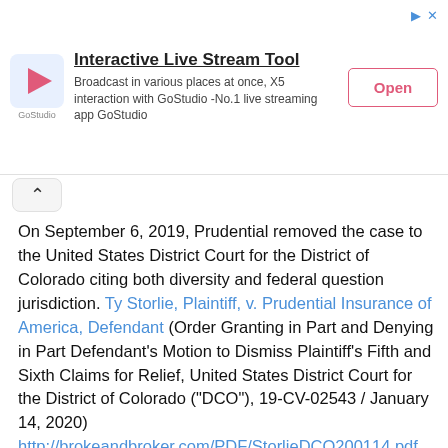[Figure (screenshot): Advertisement banner for GoStudio Interactive Live Stream Tool with logo, description text, and Open button]
On September 6, 2019, Prudential removed the case to the United States District Court for the District of Colorado citing both diversity and federal question jurisdiction. Ty Storlie, Plaintiff, v. Prudential Insurance of America, Defendant (Order Granting in Part and Denying in Part Defendant's Motion to Dismiss Plaintiff's Fifth and Sixth Claims for Relief, United States District Court for the District of Colorado ("DCO"), 19-CV-02543 / January 14, 2020) http://brokeandbroker.com/PDF/StorlieDCO200114.pdf